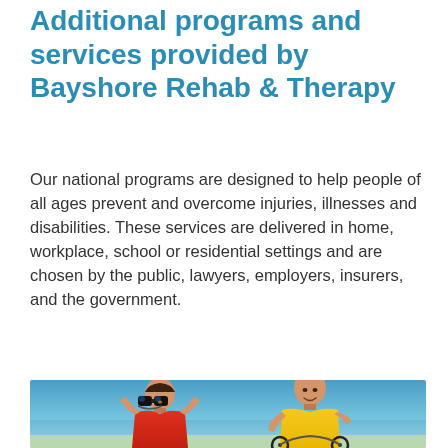Additional programs and services provided by Bayshore Rehab & Therapy
Our national programs are designed to help people of all ages prevent and overcome injuries, illnesses and disabilities. These services are delivered in home, workplace, school or residential settings and are chosen by the public, lawyers, employers, insurers, and the government.
[Figure (photo): Two men outdoors against a blue sky. One man wearing a yellow polo shirt is seated in a wheelchair and smiling at the camera. Behind him, a man wearing a red polo shirt is looking through binoculars.]